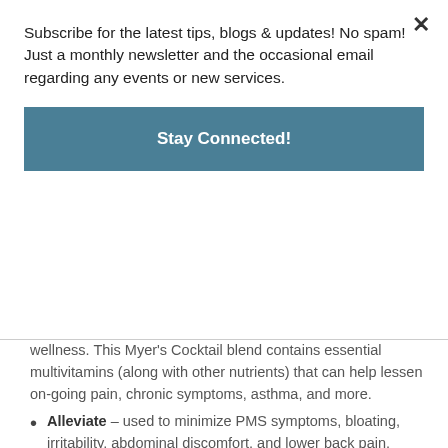Subscribe for the latest tips, blogs & updates! No spam! Just a monthly newsletter and the occasional email regarding any events or new services.
Stay Connected!
wellness. This Myer's Cocktail blend contains essential multivitamins (along with other nutrients) that can help lessen on-going pain, chronic symptoms, asthma, and more.
Alleviate – used to minimize PMS symptoms, bloating, irritability, abdominal discomfort, and lower back pain.
Get Up & Go – boost your metabolism and feel energized. This six-blend treatment of compounds can potentially help burn fat, keep your metabolism moving quickly, and provide nutrients vital to your overall health